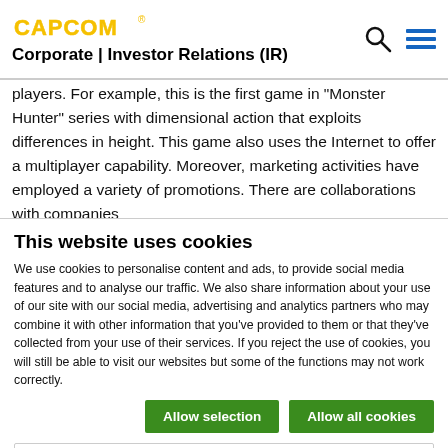CAPCOM® Corporate | Investor Relations (IR)
players. For example, this is the first game in "Monster Hunter" series with dimensional action that exploits differences in height. This game also uses the Internet to offer a multiplayer capability. Moreover, marketing activities have employed a variety of promotions. There are collaborations with companies
This website uses cookies
We use cookies to personalise content and ads, to provide social media features and to analyse our traffic. We also share information about your use of our site with our social media, advertising and analytics partners who may combine it with other information that you've provided to them or that they've collected from your use of their services. If you reject the use of cookies, you will still be able to visit our websites but some of the functions may not work correctly.
Allow selection | Allow all cookies
Necessary | Preferences | Statistics | Marketing | Show details